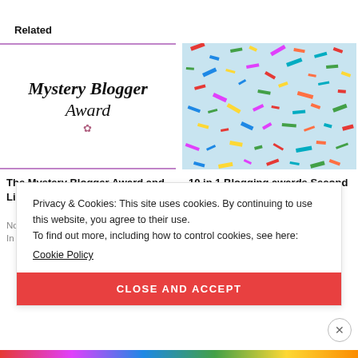Related
[Figure (illustration): Mystery Blogger Award logo with cursive script text and floral decorations on white background with purple border]
[Figure (photo): Colorful confetti scattered on a light blue background]
The Mystery Blogger Award and Liebster Award
10 in 1 Blogging awards Second Edition! (part two)
November 18, 2020
In "Blogging Awards"
September 2, 2020
In "Blogging Awards"
Privacy & Cookies: This site uses cookies. By continuing to use this website, you agree to their use.
To find out more, including how to control cookies, see here:
Cookie Policy
CLOSE AND ACCEPT